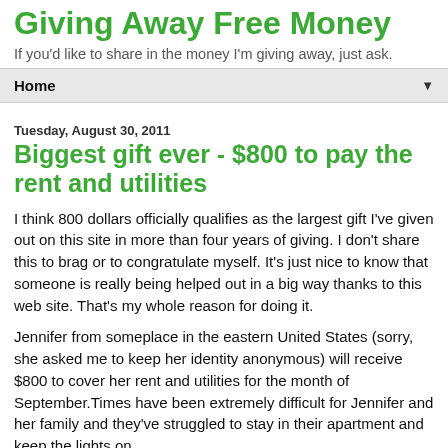Giving Away Free Money
If you'd like to share in the money I'm giving away, just ask.
Home
Tuesday, August 30, 2011
Biggest gift ever - $800 to pay the rent and utilities
I think 800 dollars officially qualifies as the largest gift I've given out on this site in more than four years of giving. I don't share this to brag or to congratulate myself. It's just nice to know that someone is really being helped out in a big way thanks to this web site. That's my whole reason for doing it.
Jennifer from someplace in the eastern United States (sorry, she asked me to keep her identity anonymous) will receive $800 to cover her rent and utilities for the month of September.Times have been extremely difficult for Jennifer and her family and they've struggled to stay in their apartment and keep the lights on.